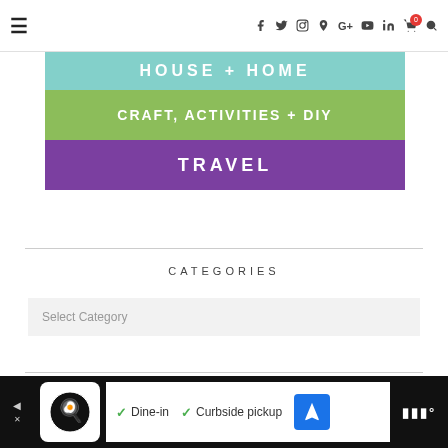≡  f  twitter  instagram  pinterest  G+  youtube  in  🛒0  🔍
[Figure (screenshot): Navigation banner showing three category links: HOUSE + HOME (teal), CRAFT, ACTIVITIES + DIY (green), TRAVEL (purple)]
CATEGORIES
Select Category
[Figure (screenshot): Ad banner at bottom: restaurant icon, Dine-in checkmark, Curbside pickup checkmark, navigation arrow icon, Waze logo area]